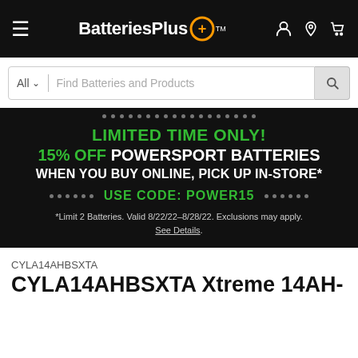[Figure (logo): BatteriesPlus logo with orange circular plus icon, white text on black nav bar with hamburger menu and icons for account, location, cart]
[Figure (screenshot): Search bar with 'All' dropdown and 'Find Batteries and Products' placeholder text, search button on right]
LIMITED TIME ONLY! 15% OFF POWERSPORT BATTERIES WHEN YOU BUY ONLINE, PICK UP IN-STORE* USE CODE: POWER15 *Limit 2 Batteries. Valid 8/22/22–8/28/22. Exclusions may apply. See Details.
CYLA14AHBSXTA
CYLA14AHBSXTA Xtreme 14AH-